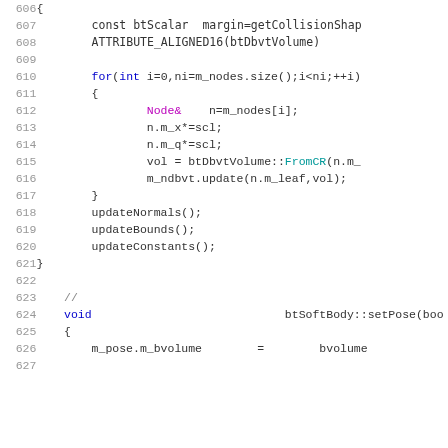[Figure (screenshot): Source code listing (C++) showing lines 606-627, including a loop over m_nodes with btDbvtVolume operations, updateNormals/Bounds/Constants calls, and the beginning of btSoftBody::setPose function.]